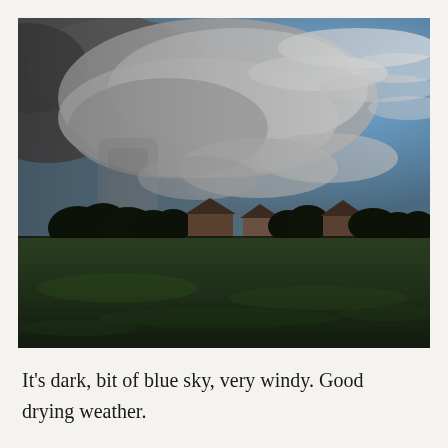[Figure (photo): Landscape photograph showing a dramatic sky with dark storm clouds on the left and lighter blue sky with wispy clouds on the right. In the middle distance is a silhouette of trees, houses and a rural village. The foreground is a dark green field. The scene conveys windy, moody weather.]
It's dark, bit of blue sky, very windy. Good drying weather.